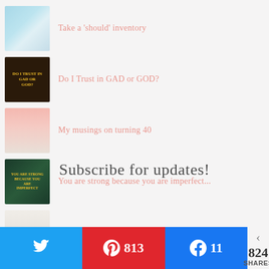Take a 'should' inventory
Do I Trust in GAD or GOD?
My musings on turning 40
You are strong because you are imperfect...
Stop 'shoulding' on yourself
Subscribe for updates!
Tweet | Pin 813 | Share 11 | 824 SHARES